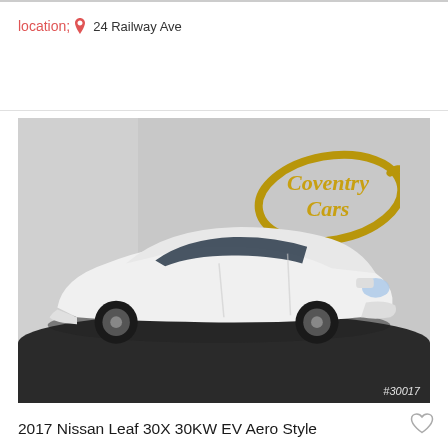24 Railway Ave
[Figure (photo): White 2017 Nissan Leaf 30X electric car photographed in a dealership showroom with a dark turntable floor. The Coventry Cars gold logo is visible on the back wall. Stock number #30017 shown in bottom right corner.]
2017 Nissan Leaf 30X 30KW EV Aero Style